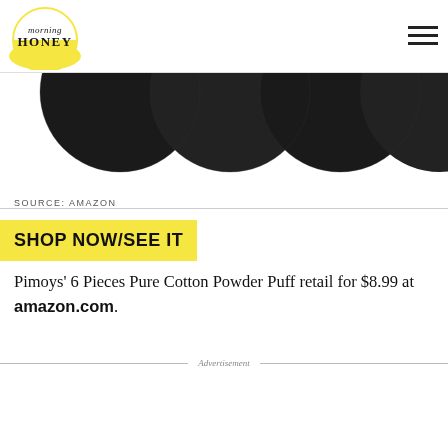[Figure (logo): Morning Honey logo — yellow semicircle with 'morning HONEY' text in black script/serif]
[Figure (photo): Black circular cotton powder puffs arranged in a row, partially cropped, on white background]
SOURCE: AMAZON
SHOP NOW/SEE IT
Pimoys' 6 Pieces Pure Cotton Powder Puff retail for $8.99 at amazon.com.
Advertisement